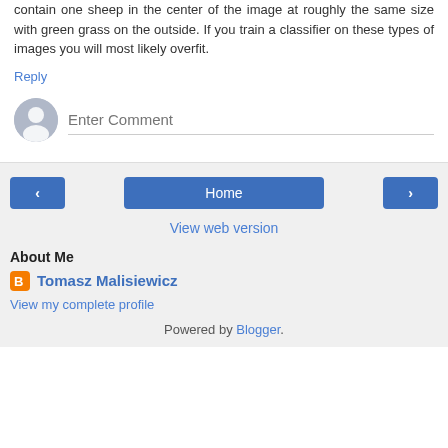contain one sheep in the center of the image at roughly the same size with green grass on the outside. If you train a classifier on these types of images you will most likely overfit.
Reply
[Figure (other): User avatar circle with default person silhouette icon and an Enter Comment input field below it]
‹
Home
›
View web version
About Me
Tomasz Malisiewicz
View my complete profile
Powered by Blogger.